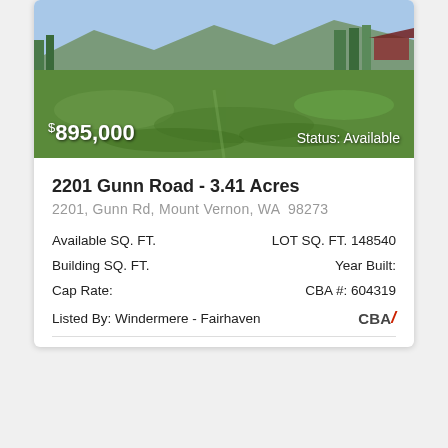[Figure (photo): Aerial/ground view of a green field/vacant land property with trees and structures in the background, blue sky. Price overlay '$895,000' and 'Status: Available' shown on the image.]
2201 Gunn Road - 3.41 Acres
2201, Gunn Rd, Mount Vernon, WA  98273
| Available SQ. FT. | LOT SQ. FT. 148540 |
| Building SQ. FT. | Year Built: |
| Cap Rate: | CBA #: 604319 |
Listed By: Windermere - Fairhaven